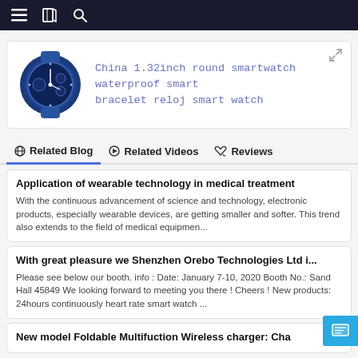Navigation bar with menu, translate, and search icons
[Figure (photo): Blue round smartwatch product photo]
China 1.32inch round smartwatch waterproof smart bracelet reloj smart watch
Related Blog | Related Videos | Reviews
Application of wearable technology in medical treatment
With the continuous advancement of science and technology, electronic products, especially wearable devices, are getting smaller and softer. This trend also extends to the field of medical equipmen...
With great pleasure we Shenzhen Orebo Technologies Ltd i...
Please see below our booth. info : Date: January 7-10, 2020 Booth No.: Sand Hall 45849 We looking forward to meeting you there ! Cheers ! New products: 24hours continuously heart rate smart watch ...
New model Foldable Multifuction Wireless charger: Cha